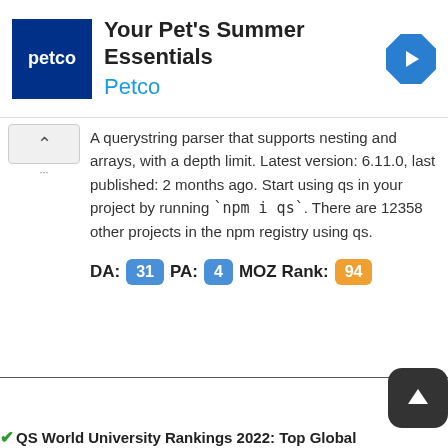[Figure (screenshot): Petco advertisement banner with Petco logo (dark blue background, white text), headline 'Your Pet's Summer Essentials', brand name 'Petco' in blue, and a blue diamond arrow icon on the right.]
A querystring parser that supports nesting and arrays, with a depth limit. Latest version: 6.11.0, last published: 2 months ago. Start using qs in your project by running `npm i qs`. There are 12358 other projects in the npm registry using qs.
DA: 31 PA: 4 MOZ Rank: 94
✓QS World University Rankings 2022: Top Global